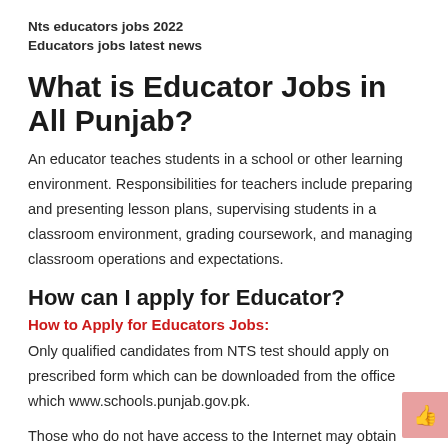Nts educators jobs 2022
Educators jobs latest news
What is Educator Jobs in All Punjab?
An educator teaches students in a school or other learning environment. Responsibilities for teachers include preparing and presenting lesson plans, supervising students in a classroom environment, grading coursework, and managing classroom operations and expectations.
How can I apply for Educator?
How to Apply for Educators Jobs:
Only qualified candidates from NTS test should apply on prescribed form which can be downloaded from the office which www.schools.punjab.gov.pk.
Those who do not have access to the Internet may obtain